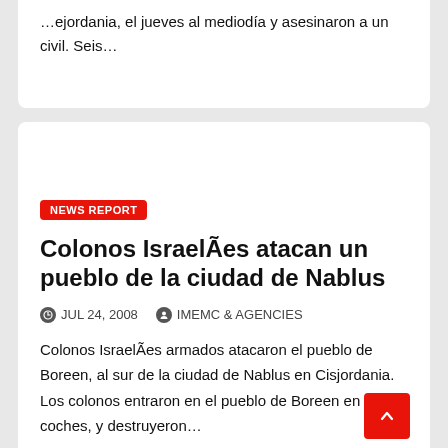…ejordania, el jueves al mediodía y asesinaron a un civil. Seis…
NEWS REPORT
Colonos IsraelÃes atacan un pueblo de la ciudad de Nablus
JUL 24, 2008   IMEMC & AGENCIES
Colonos IsraelÃes armados atacaron el pueblo de Boreen, al sur de la ciudad de Nablus en Cisjordania. Los colonos entraron en el pueblo de Boreen en ocho coches, y destruyeron…